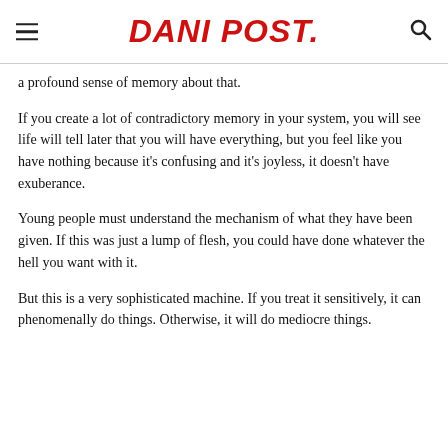DANI POST.
a profound sense of memory about that.
If you create a lot of contradictory memory in your system, you will see life will tell later that you will have everything, but you feel like you have nothing because it's confusing and it's joyless, it doesn't have exuberance.
Young people must understand the mechanism of what they have been given. If this was just a lump of flesh, you could have done whatever the hell you want with it.
But this is a very sophisticated machine. If you treat it sensitively, it can phenomenally do things. Otherwise, it will do mediocre things.